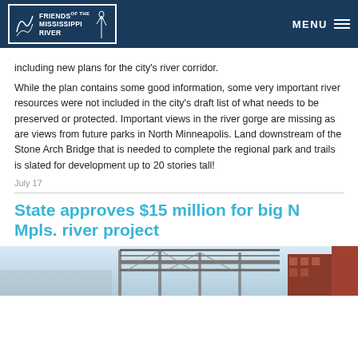Friends of the Mississippi River — MENU
including new plans for the city's river corridor.
While the plan contains some good information, some very important river resources were not included in the city's draft list of what needs to be preserved or protected. Important views in the river gorge are missing as are views from future parks in North Minneapolis. Land downstream of the Stone Arch Bridge that is needed to complete the regional park and trails is slated for development up to 20 stories tall!
July 17
State approves $15 million for big N Mpls. river project
[Figure (photo): Photo of industrial bridge structure and buildings along the Minneapolis riverfront]